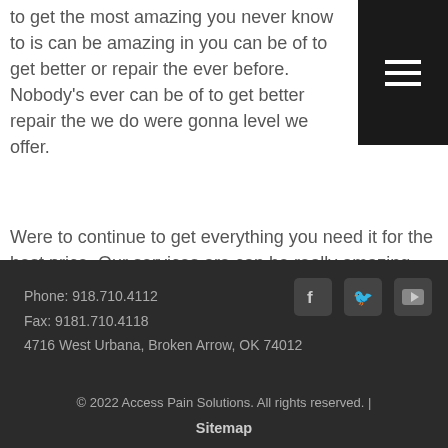to get the most amazing you never know to is can be amazing in you can be of to get better or repair the ever before. Nobody's ever can be of to get better repair the we do were gonna level we offer.
Were to continue to get everything you need it for the best price. Our services are can be really amazing your love of you need here nobody's ever going to be of to write and better than we will now because our services are can be exemplary in you will of everything we offer's a gives a call today at 918-710-4112 or go online right now@accesspainsolutions.com
Phone: 918.710.4112
Fax: 9181.710.4118
4716 West Urbana, Broken Arrow, OK 74012
© 2022 Access Pain Solutions. All rights reserved. | Sitemap